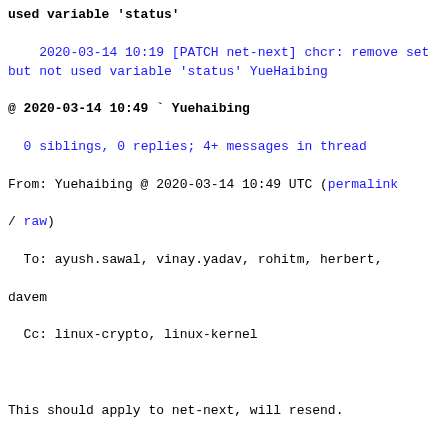used variable 'status'
    2020-03-14 10:19 [PATCH net-next] chcr: remove set but not used variable 'status' YueHaibing
@ 2020-03-14 10:49 ` Yuehaibing
  0 siblings, 0 replies; 4+ messages in thread
From: Yuehaibing @ 2020-03-14 10:49 UTC (permalink / raw)
  To: ayush.sawal, vinay.yadav, rohitm, herbert, davem
  Cc: linux-crypto, linux-kernel

This should apply to net-next, will resend.

On 2020/3/14 18:19, YueHaibing wrote:
> drivers/crypto/chelsio/chcr_ktls.c: In function chcr_ktls_cpl_set_tcb_rpl:
> drivers/crypto/chelsio/chcr_ktls.c:662:11: warning:
>  variable status set but not used [-Wunused-but-set-variable]
> 
> commit 8a30923e1598 ("cxgb4/chcr: Save tx keys and handle HW response")
> involved this unused variable, remove it.
> 
> Reported-by: Hulk Robot <hulkci@huawei.com>
> Signed-off-by: YueHaibing <yuehaibing@huawei.com>
> ---
>  drivers/crypto/chelsio/chcr_ktls.c | 3 +--